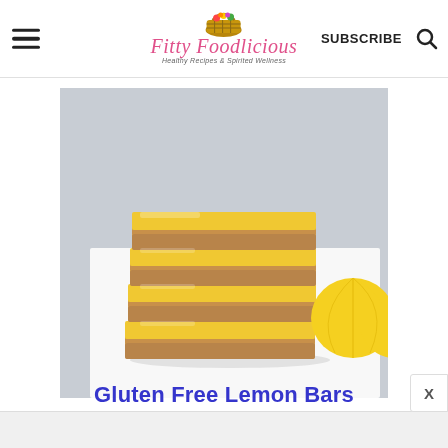Fitty Foodlicious — Healthy Recipes & Spirited Wellness — SUBSCRIBE
[Figure (photo): Stack of four gluten free lemon bars with yellow lemon curd top and granola/nut crust, on a white surface with a lemon half visible at right, gray background]
Gluten Free Lemon Bars